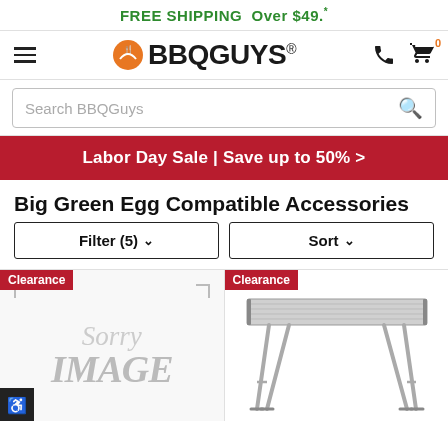FREE SHIPPING Over $49.*
[Figure (logo): BBQGuys logo with flame and fork icon, hamburger menu, phone icon, and cart icon with 0 badge]
Search BBQGuys
Labor Day Sale | Save up to 50% >
Big Green Egg Compatible Accessories
Filter (5) ∨
Sort ∨
Clearance
[Figure (photo): Sorry image not available placeholder with rounded corner border marks]
Clearance
[Figure (photo): Silver aluminum folding table with slatted top and folding legs]